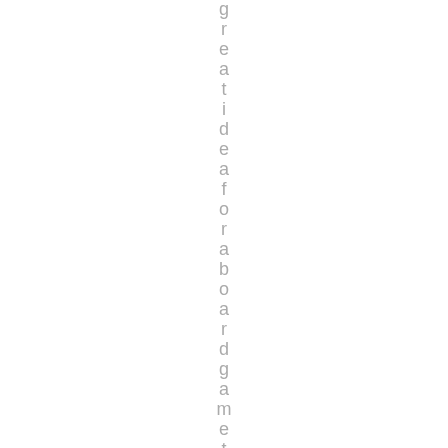great idea for a board game that w